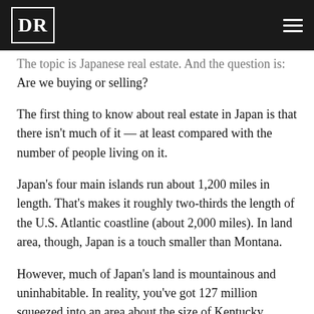DR [logo] [hamburger menu]
The topic is Japanese real estate. And the question is: Are we buying or selling?
The first thing to know about real estate in Japan is that there isn’t much of it — at least compared with the number of people living on it.
Japan’s four main islands run about 1,200 miles in length. That’s makes it roughly two-thirds the length of the U.S. Atlantic coastline (about 2,000 miles). In land area, though, Japan is a touch smaller than Montana.
However, much of Japan’s land is mountainous and uninhabitable. In reality, you’ve got 127 million squeezed into an area about the size of Kentucky